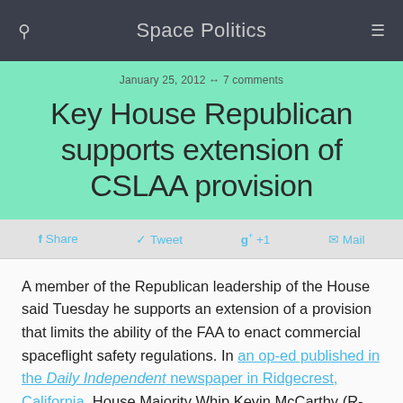Space Politics
January 25, 2012 ↔ 7 comments
Key House Republican supports extension of CSLAA provision
f Share   Tweet   g+ +1   Mail
A member of the Republican leadership of the House said Tuesday he supports an extension of a provision that limits the ability of the FAA to enact commercial spaceflight safety regulations. In an op-ed published in the Daily Independent newspaper in Ridgecrest, California, House Majority Whip Kevin McCarthy (R-CA) discusses commercial spaceflight, in particular activities at Mojave Air and Space Port, located in his district. "Itâ€™s clear